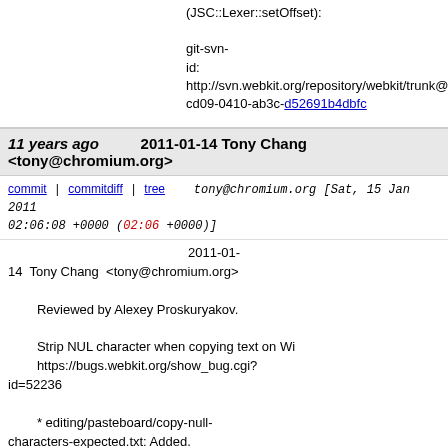(JSC::Lexer::setOffset):

git-svn-id: http://svn.webkit.org/repository/webkit/trunk@7 cd09-0410-ab3c-d52691b4dbfc
11 years ago    2011-01-14 Tony Chang <tony@chromium.org>
commit | commitdiff | tree    tony@chromium.org [Sat, 15 Jan 2011 02:06:08 +0000 (02:06 +0000)]
2011-01-14  Tony Chang  <tony@chromium.org>

        Reviewed by Alexey Proskuryakov.

        Strip NUL character when copying text on Wi https://bugs.webkit.org/show_bug.cgi?id=52236

        * editing/pasteboard/copy-null-characters-expected.txt: Added.
        * editing/pasteboard/copy-null-characters.html: Added.
2011-01-14  Tony Chang  <tony@chromium.org>

        Reviewed by Alexey Proskuryakov.